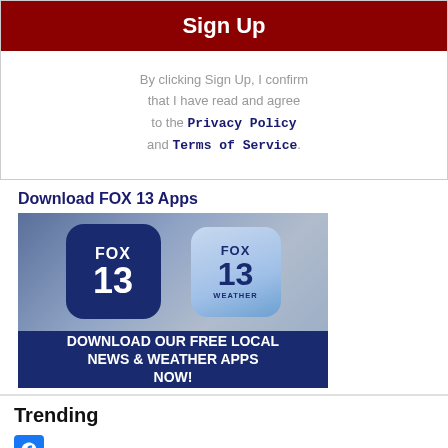[Figure (screenshot): Red Sign Up button]
By clicking Sign Up, I confirm that I have read and agree to the Privacy Policy and Terms of Service.
Download FOX 13 Apps
[Figure (illustration): FOX 13 and FOX 13 Weather app icons with banner text: DOWNLOAD OUR FREE LOCAL NEWS & WEATHER APPS NOW!]
Trending